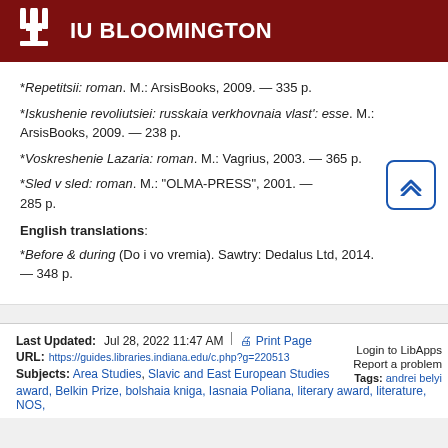IU BLOOMINGTON
*Repetitsii: roman. M.: ArsisBooks, 2009. — 335 p.
*Iskushenie revoliutsiei: russkaia verkhovnaia vlast': esse. M.: ArsisBooks, 2009. — 238 p.
*Voskreshenie Lazaria: roman. M.: Vagrius, 2003. — 365 p.
*Sled v sled: roman. M.: "OLMA-PRESS", 2001. — 285 p.
English translations:
*Before & during (Do i vo vremia). Sawtry: Dedalus Ltd, 2014. — 348 p.
Last Updated: Jul 28, 2022 11:47 AM | URL: https://guides.libraries.indiana.edu/c.php?g=220513 | Print Page
Login to LibApps
Report a problem
Subjects: Area Studies, Slavic and East European Studies
Tags: andrei belyi
award, Belkin Prize, bolshaia kniga, Iasnaia Poliana, literary award, literature, NOS,